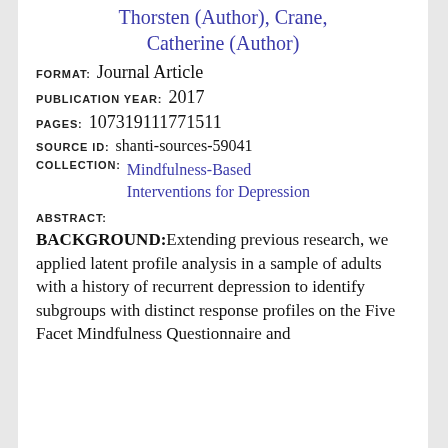Thorsten (Author), Crane, Catherine (Author)
FORMAT: Journal Article
PUBLICATION YEAR: 2017
PAGES: 107319111771511
SOURCE ID: shanti-sources-59041
COLLECTION: Mindfulness-Based Interventions for Depression
ABSTRACT:
BACKGROUND:Extending previous research, we applied latent profile analysis in a sample of adults with a history of recurrent depression to identify subgroups with distinct response profiles on the Five Facet Mindfulness Questionnaire and